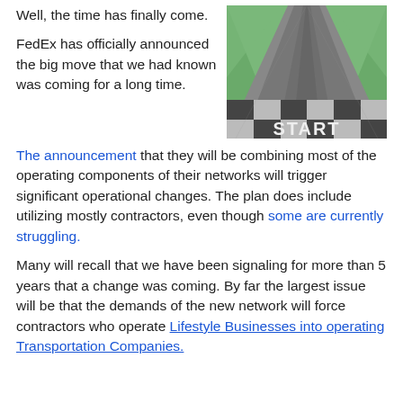Well, the time has finally come.
[Figure (photo): Aerial perspective photo of a road with a checkered START pattern at the bottom, flanked by green grass on both sides, leading into the distance.]
FedEx has officially announced the big move that we had known was coming for a long time.
The announcement that they will be combining most of the operating components of their networks will trigger significant operational changes. The plan does include utilizing mostly contractors, even though some are currently struggling.
Many will recall that we have been signaling for more than 5 years that a change was coming. By far the largest issue will be that the demands of the new network will force contractors who operate Lifestyle Businesses into operating Transportation Companies.